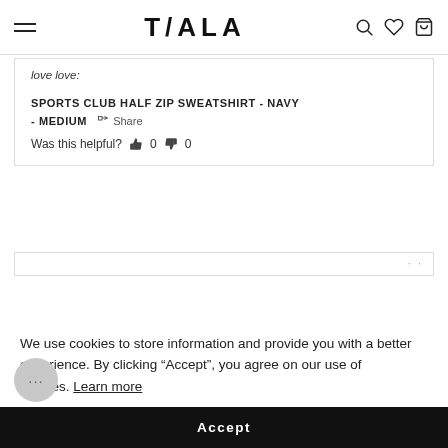TALA
love love:
SPORTS CLUB HALF ZIP SWEATSHIRT - NAVY
- MEDIUM
Share
Was this helpful?  0  0
We use cookies to store information and provide you with a better experience. By clicking “Accept”, you agree on our use of cookies. Learn more
Accept